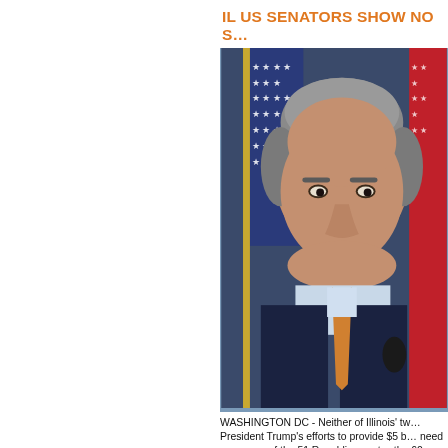IL US SENATORS SHOW NO S… WALL FUNDING, DESPITE DUR…
[Figure (photo): A man in a dark suit with an orange/gold tie speaking at a podium in front of American flags]
WASHINGTON DC - Neither of Illinois' tw… President Trump's efforts to provide $5 b… need every one of the 51 Republican vot… the 60 needed votes for cloture Friday. If… wall funding proposal, a portion of the fe… midnight.